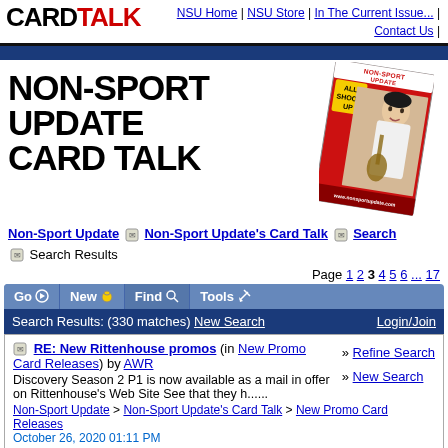CARD TALK | NSU Home | NSU Store | In The Current Issue... | Contact Us |
[Figure (illustration): Magazine cover of Non-Sport Update featuring Elvis Presley with 'All Shook Up' headline, rotated slightly, overlapping large bold text reading NON-SPORT UPDATE CARD TALK]
NON-SPORT UPDATE CARD TALK
Non-Sport Update [icon] Non-Sport Update's Card Talk [icon] Search [icon] Search Results
Page 1 2 3 4 5 6 ... 17
Go | New | Find | Tools
Search Results: (330 matches) New Search  Login/Join
RE: New Rittenhouse promos (in New Promo Card Releases) by AWR Discovery Season 2 P1 is now available as a mail in offer on Rittenhouse's Web Site See that they h...... Non-Sport Update > Non-Sport Update's Card Talk > New Promo Card Releases October 26, 2020 01:11 PM
» Refine Search
» New Search